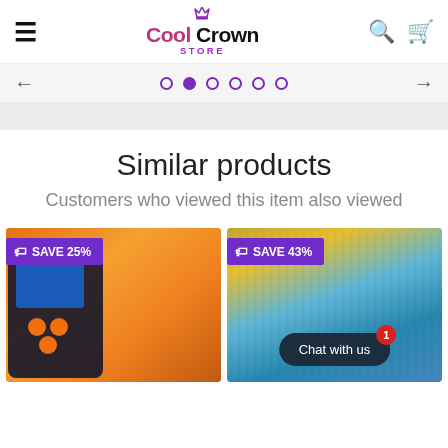Cool Crown Store
[Figure (screenshot): Slider navigation with left arrow, 6 pagination dots (second active), and right arrow on gray background]
Similar products
Customers who viewed this item also viewed
[Figure (photo): Product card with SAVE 25% badge showing a car battery tester/OBD scanner device with orange packaging]
[Figure (photo): Product card with SAVE 43% badge showing colorful wavy craft foam sheets in blue and yellow, with Chat with us bubble overlay showing notification badge 1]